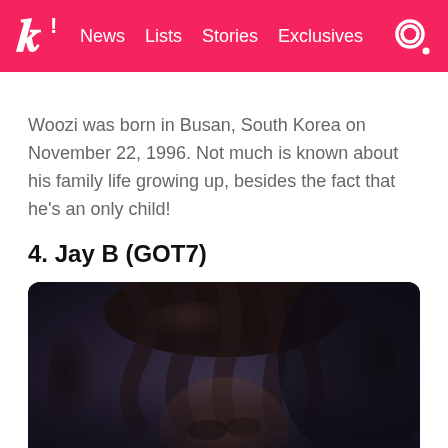k! News Lists Stories Exclusives
Woozi was born in Busan, South Korea on November 22, 1996. Not much is known about his family life growing up, besides the fact that he's an only child!
4. Jay B (GOT7)
[Figure (photo): Portrait photo of Jay B (GOT7) with tousled dark wavy/curly hair, dark background, face partially visible]